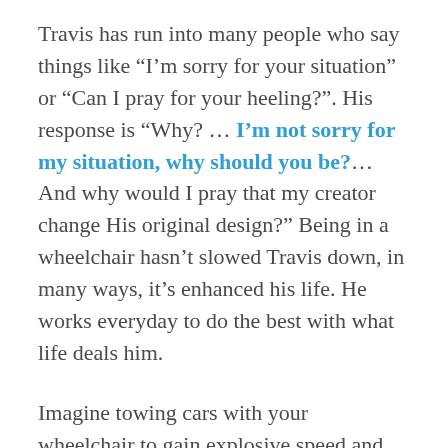Travis has run into many people who say things like “I’m sorry for your situation” or “Can I pray for your heeling?”. His response is “Why? … I’m not sorry for my situation, why should you be?… And why would I pray that my creator change His original design?” Being in a wheelchair hasn’t slowed Travis down, in many ways, it’s enhanced his life. He works everyday to do the best with what life deals him.
Imagine towing cars with your wheelchair to gain explosive speed and completing 3-mile workouts through unplowed snow to